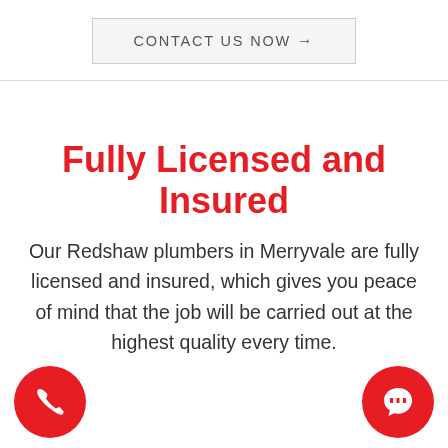CONTACT US NOW →
Fully Licensed and Insured
Our Redshaw plumbers in Merryvale are fully licensed and insured, which gives you peace of mind that the job will be carried out at the highest quality every time.